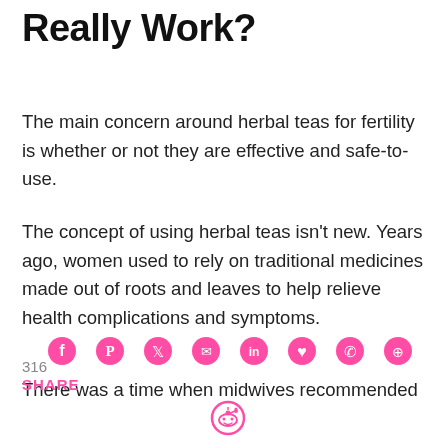Really Work?
The main concern around herbal teas for fertility is whether or not they are effective and safe-to-use.
The concept of using herbal teas isn't new. Years ago, women used to rely on traditional medicines made out of roots and leaves to help relieve health complications and symptoms.
There was a time when midwives recommended
[Figure (infographic): Social media share icons row: Facebook, Pinterest, Twitter, Email, LinkedIn, Pocket, WhatsApp, Messenger, Reddit. Share count: 316 SHARE]
316
SHARE